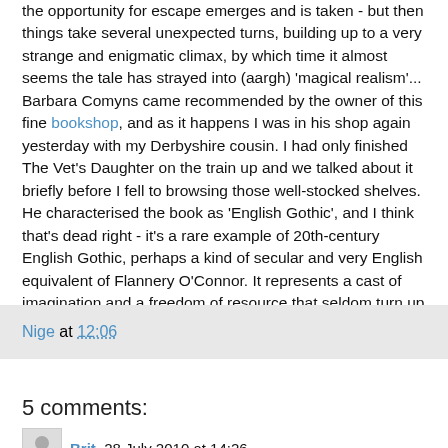the opportunity for escape emerges and is taken - but then things take several unexpected turns, building up to a very strange and enigmatic climax, by which time it almost seems the tale has strayed into (aargh) 'magical realism'... Barbara Comyns came recommended by the owner of this fine bookshop, and as it happens I was in his shop again yesterday with my Derbyshire cousin. I had only finished The Vet's Daughter on the train up and we talked about it briefly before I fell to browsing those well-stocked shelves. He characterised the book as 'English Gothic', and I think that's dead right - it's a rare example of 20th-century English Gothic, perhaps a kind of secular and very English equivalent of Flannery O'Connor. It represents a cast of imagination and a freedom of resource that seldom turn up in English fiction - even among women novelists.
Nige at 12:06
5 comments:
Brit  28 July 2010 at 14:26